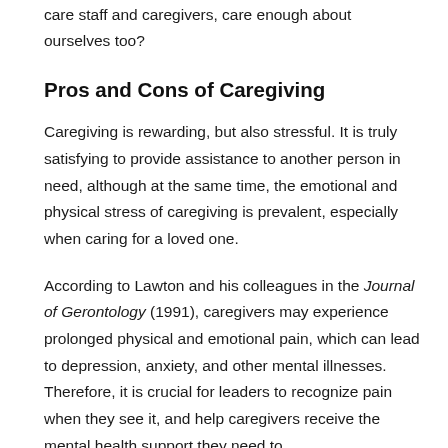because we care about our seniors, however, do we, as care staff and caregivers, care enough about ourselves too?
Pros and Cons of Caregiving
Caregiving is rewarding, but also stressful. It is truly satisfying to provide assistance to another person in need, although at the same time, the emotional and physical stress of caregiving is prevalent, especially when caring for a loved one.
According to Lawton and his colleagues in the Journal of Gerontology (1991), caregivers may experience prolonged physical and emotional pain, which can lead to depression, anxiety, and other mental illnesses. Therefore, it is crucial for leaders to recognize pain when they see it, and help caregivers receive the mental health support they need to